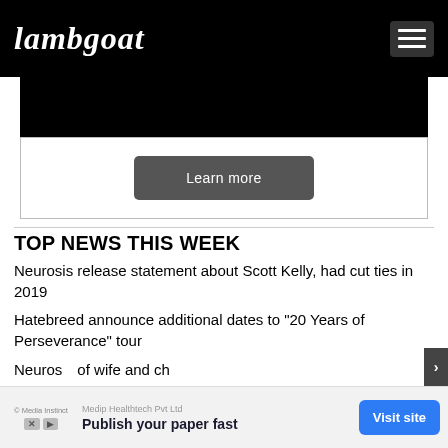Lambgoat
[Figure (screenshot): Black hero image area from website]
Learn more
TOP NEWS THIS WEEK
Neurosis release statement about Scott Kelly, had cut ties in 2019
Hatebreed announce additional dates to "20 Years of Perseverance" tour
Neurosis ... of wife and ch...
[Figure (screenshot): Bottom advertisement banner: Medip Healthtech Pvt Ltd - Publish your paper fast - Visit site button]